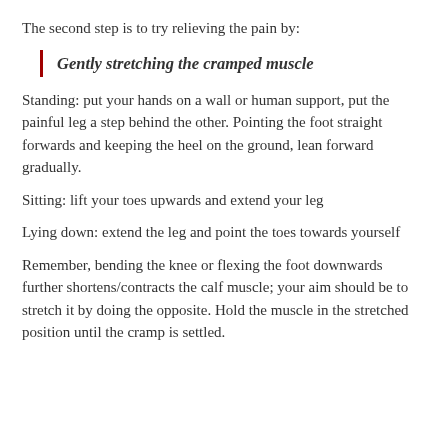The second step is to try relieving the pain by:
Gently stretching the cramped muscle
Standing: put your hands on a wall or human support, put the painful leg a step behind the other. Pointing the foot straight forwards and keeping the heel on the ground, lean forward gradually.
Sitting: lift your toes upwards and extend your leg
Lying down: extend the leg and point the toes towards yourself
Remember, bending the knee or flexing the foot downwards further shortens/contracts the calf muscle; your aim should be to stretch it by doing the opposite. Hold the muscle in the stretched position until the cramp is settled.